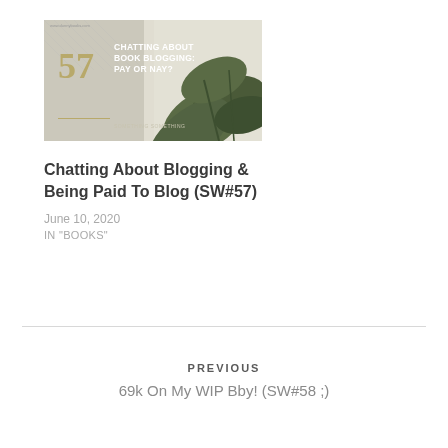[Figure (photo): Blog post thumbnail image showing '57 CHATTING ABOUT BOOK BLOGGING: PAY OR NAY?' text with decorative plant/leaf background and gold number 57]
Chatting About Blogging & Being Paid To Blog (SW#57)
June 10, 2020
IN "BOOKS"
PREVIOUS
69k On My WIP Bby! (SW#58 ;)